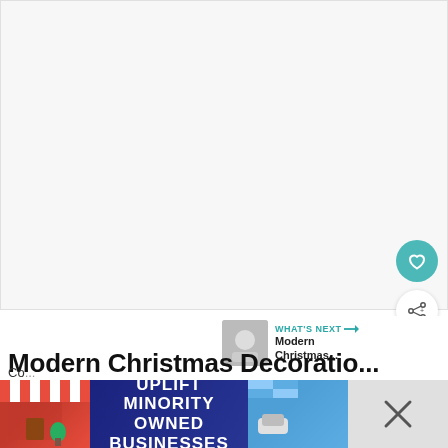[Figure (photo): Large blank/white image placeholder area at top of page, representing a main article image]
Modern Christmas Decoratio... the Kitchen
[Figure (thumbnail): WHAT'S NEXT panel with thumbnail image and text 'Modern Christmas...']
[Figure (infographic): Advertisement banner: UPLIFT MINORITY OWNED BUSINESSES with storefront illustration on dark blue background]